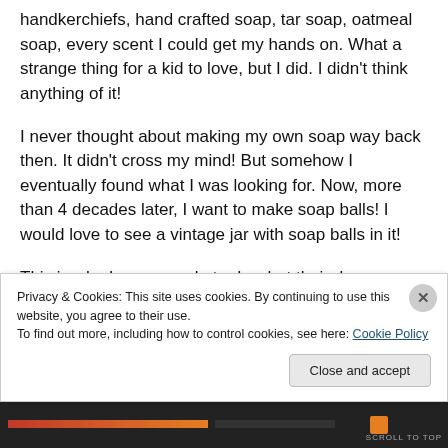handkerchiefs, hand crafted soap, tar soap, oatmeal soap, every scent I could get my hands on. What a strange thing for a kid to love, but I did. I didn't think anything of it!
I never thought about making my own soap way back then. It didn't cross my mind! But somehow I eventually found what I was looking for. Now, more than 4 decades later, I want to make soap balls! I would love to see a vintage jar with soap balls in it!
This is why I urge people to do what their dreams are hinting at – do what you feel creative at. You just never
Privacy & Cookies: This site uses cookies. By continuing to use this website, you agree to their use.
To find out more, including how to control cookies, see here: Cookie Policy